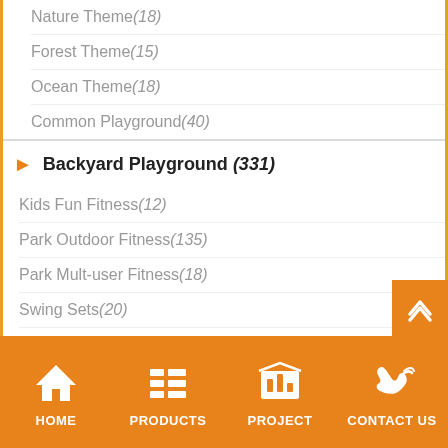Nature Theme(18)
Forest Theme(15)
Ocean Theme(18)
Common Playground(40)
Backyard Playground (331)
Kids Fun Fitness(12)
Park Outdoor Fitness(135)
Park Mult-user Fitness(18)
Swing Sets(20)
Spring Rider(59)
Kids Climbing Wall(21)
Park Bench & Bin(24)
Inflatable Bounce(41)
HOME | PRODUCTS | PROJECT | CONTACT US